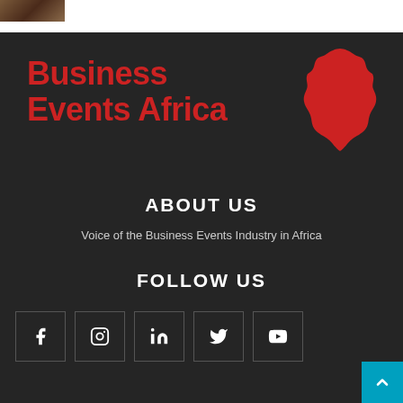[Figure (photo): Partial photo thumbnail in top-left corner]
[Figure (logo): Business Events Africa logo with red text and Africa map silhouette in red]
ABOUT US
Voice of the Business Events Industry in Africa
FOLLOW US
[Figure (infographic): Social media icons: Facebook, Instagram, LinkedIn, Twitter, YouTube]